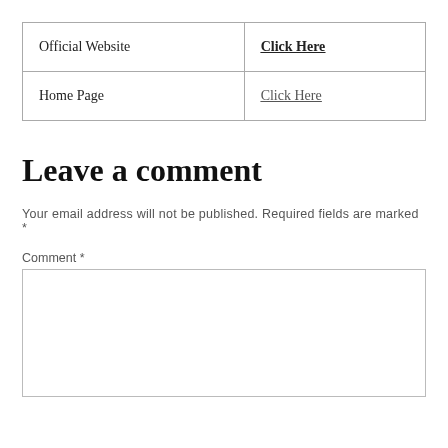| Official Website | Click Here |
| Home Page | Click Here |
Leave a comment
Your email address will not be published. Required fields are marked *
Comment *